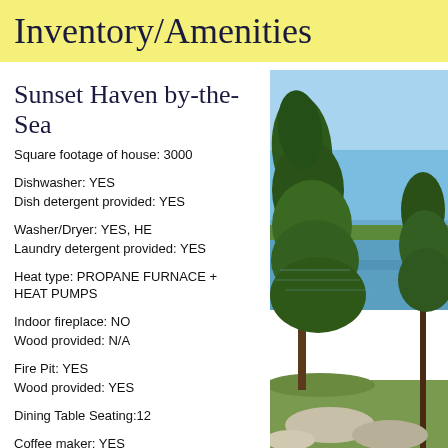Inventory/Amenities
Sunset Haven by-the-Sea
Square footage of house: 3000
Dishwasher: YES
Dish detergent provided: YES
Washer/Dryer: YES, HE
Laundry detergent provided: YES
Heat type: PROPANE FURNACE + HEAT PUMPS
Indoor fireplace: NO
Wood provided: N/A
Fire Pit: YES
Wood provided: YES
Dining Table Seating:12
Coffee maker: YES
[Figure (photo): Coastal scene with pine trees in foreground, water and rocky shoreline in background, clear blue sky]